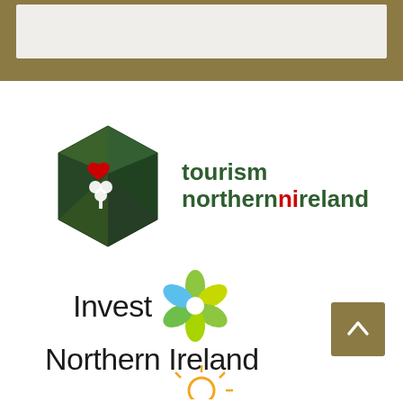[Figure (logo): Tourism Northern Ireland logo — dark green hexagon with white shamrock and red heart, beside green bold text 'tourism northernireland' with 'ni' in red]
[Figure (logo): Invest Northern Ireland logo — colourful flower-like mark with blue and green petals, beside dark text 'Invest Northern Ireland']
[Figure (logo): Partial third logo visible at bottom of page, partially cut off]